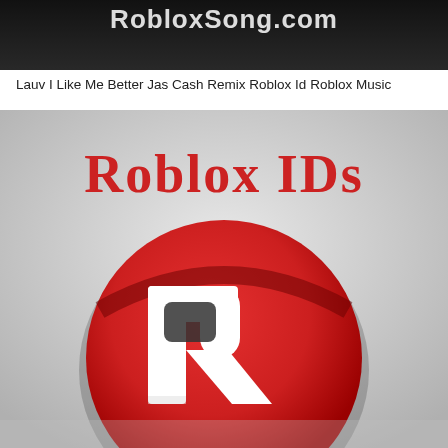[Figure (photo): Top portion of a dark background image with white text 'RobloxSong.com' partially visible at top]
Lauv I Like Me Better Jas Cash Remix Roblox Id Roblox Music
[Figure (photo): Roblox IDs promotional image with light gray gradient background, 'Roblox IDs' written in red serif text at the top, and a large 3D red Roblox logo (circle with R letter) in the center-lower area]